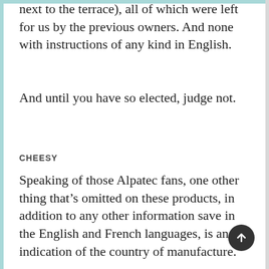next to the terrace), all of which were left for us by the previous owners. And none with instructions of any kind in English.
And until you have so elected, judge not.
CHEESY
Speaking of those Alpatec fans, one other thing that's omitted on these products, in addition to any other information save in the English and French languages, is an indication of the country of manufacture.
We are used, in the US, to seeing Made in China, or perhaps Taiwan, on an increasing number of consumer products. In fact, it's the law to so indicate, not China, but whatever country in which the product was made. And you cannot say, made in the U.S.A., unless the final product, entirely assembled and